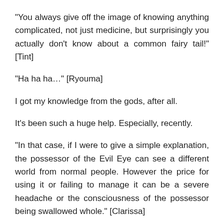“You always give off the image of knowing anything complicated, not just medicine, but surprisingly you actually don’t know about a common fairy tail!” [Tint]
“Ha ha ha…” [Ryouma]
I got my knowledge from the gods, after all.
It’s been such a huge help. Especially, recently.
“In that case, if I were to give a simple explanation, the possessor of the Evil Eye can see a different world from normal people. However the price for using it or failing to manage it can be a severe headache or the consciousness of the possessor being swallowed whole.” [Clarissa]